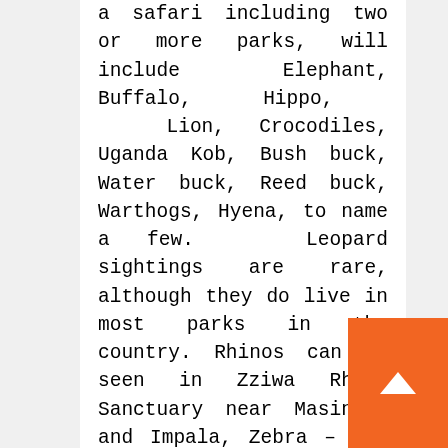a safari including two or more parks, will include Elephant, Buffalo, Hippo, Lion, Crocodiles, Uganda Kob, Bush buck, Water buck, Reed buck, Warthogs, Hyena, to name a few. Leopard sightings are rare, although they do live in most parks in the country. Rhinos can be seen in Zziwa Rhino Sanctuary near Masindi, and Impala, Zebra – and occasionally Eland – may be seen in Lake Mburo. Giraffe are only found in Murchison